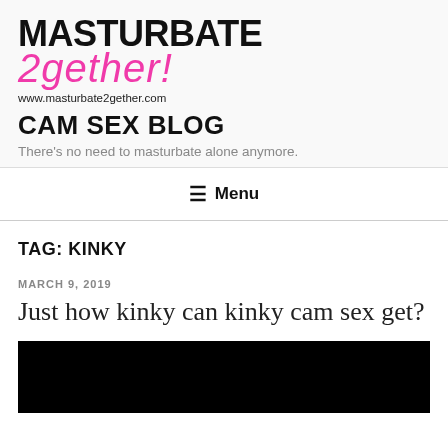MASTURBATE 2gether! www.masturbate2gether.com
CAM SEX BLOG
There's no need to masturbate alone anymore.
Menu
TAG: KINKY
MARCH 9, 2019
Just how kinky can kinky cam sex get?
[Figure (photo): Black image placeholder at the bottom of the page]